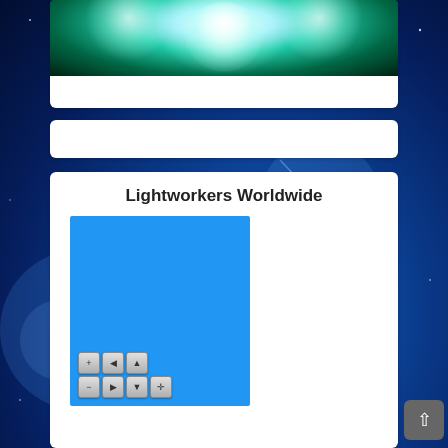[Figure (photo): Glowing spiritual/meditative figure with bright white light on dark teal/green background, shown in a white card panel]
[Figure (other): Empty white card/banner bar]
Lightworkers Worldwide
[Figure (map): Blue interactive map placeholder with zoom and pan controls (plus, minus, arrow buttons and move control)]
[Figure (other): Back to top button - dark rounded square with upward arrow]